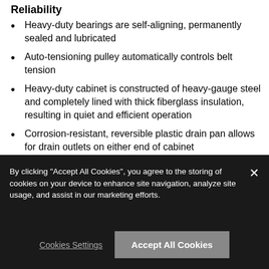Reliability
Heavy-duty bearings are self-aligning, permanently sealed and lubricated
Auto-tensioning pulley automatically controls belt tension
Heavy-duty cabinet is constructed of heavy-gauge steel and completely lined with thick fiberglass insulation, resulting in quiet and efficient operation
Corrosion-resistant, reversible plastic drain pan allows for drain outlets on either end of cabinet
By clicking "Accept All Cookies", you agree to the storing of cookies on your device to enhance site navigation, analyze site usage, and assist in our marketing efforts.
Cookies Settings
Accept All Cookies